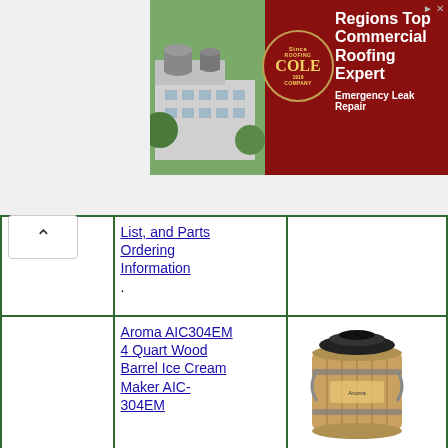[Figure (photo): Cole Roofing Company advertisement banner showing aerial photo of commercial building with rooftop HVAC units on left, circular company logo in center, and text 'Regions Top Commercial Roofing Expert - Emergency Leak Repair' on dark red background]
List, and Parts Ordering Information.
Aroma AIC304EM 4 Quart Wood Barrel Ice Cream Maker AIC-304EM
[Figure (photo): Product photo of Aroma AIC304EM 4 Quart Wood Barrel Ice Cream Maker - a wooden barrel bucket with metal bands and a black motorized lid on top]